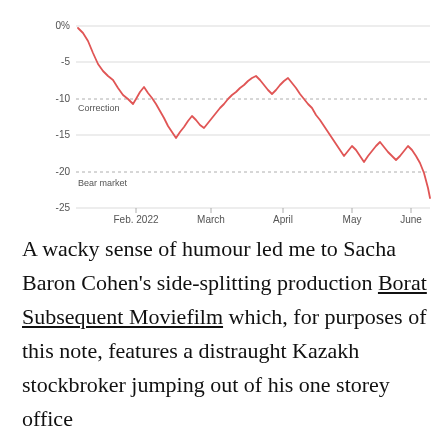[Figure (continuous-plot): Line chart showing S&P 500 percentage drawdown from peak, starting near 0% in early Jan 2022, declining sharply to around -12% by late January, recovering partially, then declining again to reach approximately -23% by mid-June 2022. Two horizontal dotted reference lines: 'Correction' at -10% and 'Bear market' at -20%.]
A wacky sense of humour led me to Sacha Baron Cohen's side-splitting production Borat Subsequent Moviefilm which, for purposes of this note, features a distraught Kazakh stockbroker jumping out of his one storey office